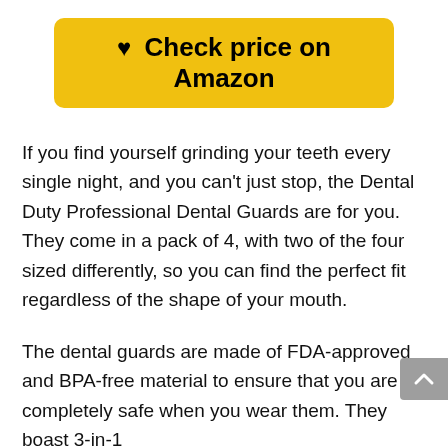[Figure (other): Yellow rounded button with heart icon and text 'Check price on Amazon']
If you find yourself grinding your teeth every single night, and you can't just stop, the Dental Duty Professional Dental Guards are for you. They come in a pack of 4, with two of the four sized differently, so you can find the perfect fit regardless of the shape of your mouth.
The dental guards are made of FDA-approved and BPA-free material to ensure that you are completely safe when you wear them. They boast 3-in-1